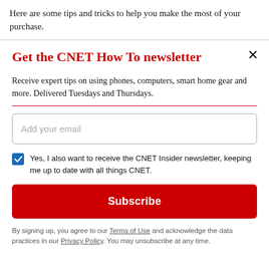Here are some tips and tricks to help you make the most of your purchase.
Get the CNET How To newsletter
Receive expert tips on using phones, computers, smart home gear and more. Delivered Tuesdays and Thursdays.
Add your email
Yes, I also want to receive the CNET Insider newsletter, keeping me up to date with all things CNET.
Subscribe
By signing up, you agree to our Terms of Use and acknowledge the data practices in our Privacy Policy. You may unsubscribe at any time.